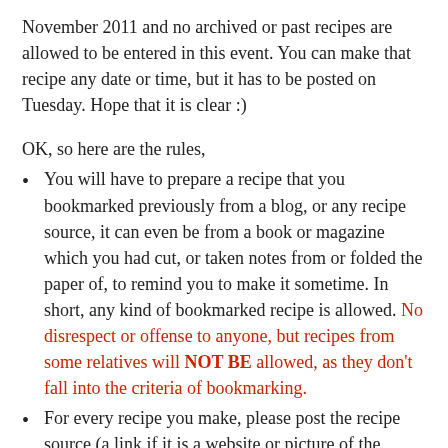November 2011 and no archived or past recipes are allowed to be entered in this event. You can make that recipe any date or time, but it has to be posted on Tuesday. Hope that it is clear :)
OK, so here are the rules,
You will have to prepare a recipe that you bookmarked previously from a blog, or any recipe source, it can even be from a book or magazine which you had cut, or taken notes from or folded the paper of, to remind you to make it sometime. In short, any kind of bookmarked recipe is allowed. No disrespect or offense to anyone, but recipes from some relatives will NOT BE allowed, as they don't fall into the criteria of bookmarking.
For every recipe you make, please post the recipe source (a link if it is a website or picture of the book/magazine, if it is from the print media) along with picture (s). You are NOT ALLOWED to copy/paste the recipe and just link it to the original blog or post or wherever you found it.